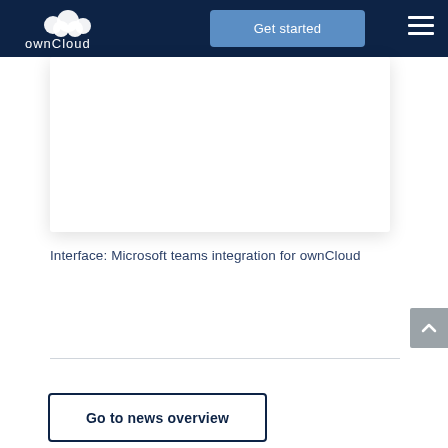ownCloud — Get started
[Figure (screenshot): White image card showing Microsoft teams integration interface, mostly blank white area with drop shadow]
Interface: Microsoft teams integration for ownCloud
Go to news overview